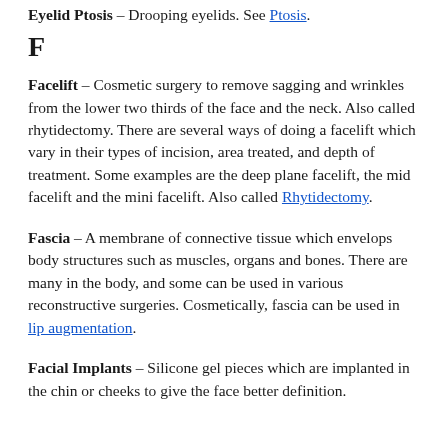Eyelid Ptosis – Drooping eyelids. See Ptosis.
F
Facelift – Cosmetic surgery to remove sagging and wrinkles from the lower two thirds of the face and the neck. Also called rhytidectomy. There are several ways of doing a facelift which vary in their types of incision, area treated, and depth of treatment. Some examples are the deep plane facelift, the mid facelift and the mini facelift. Also called Rhytidectomy.
Fascia – A membrane of connective tissue which envelops body structures such as muscles, organs and bones. There are many in the body, and some can be used in various reconstructive surgeries. Cosmetically, fascia can be used in lip augmentation.
Facial Implants – Silicone gel pieces which are implanted in the chin or cheeks to give the face better definition.